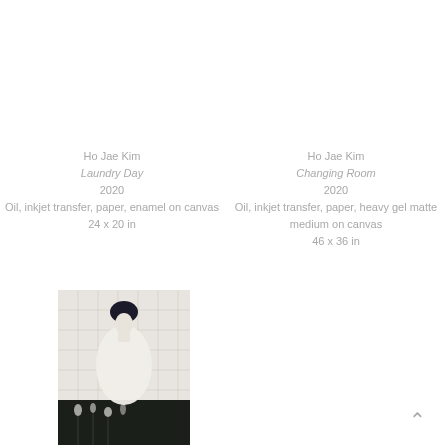Ho Jae Kim
Laundry Day
2020
Oil, inkjet transfer, paper, enamel on canvas
24 x 20 in
Ho Jae Kim
Changing Room
2020
Oil, inkjet transfer, paper, heavy gel matte medium on canvas
46 x 36 in
[Figure (photo): Painting of a figure with dark hair and white garment, seated against a grid-patterned background with dark foliage at the bottom]